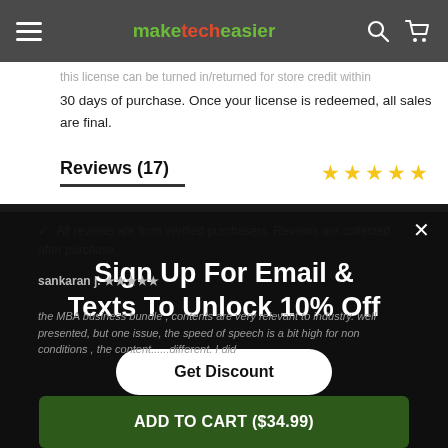maketecheasier
30 days of purchase. Once your license is redeemed, all sales are final.
Reviews (17)
All reviews are from verified purchasers. Reviews are collected after purchase.
Sign Up For Email & Texts To Unlock 10% Off
Get Discount
sankaran j.
the MBA business bundle , contents are very relevant to industry. well presented, but one issue, the speed of speech is a bit high for non conditions , the content......different. I did
ADD TO CART ($34.99)